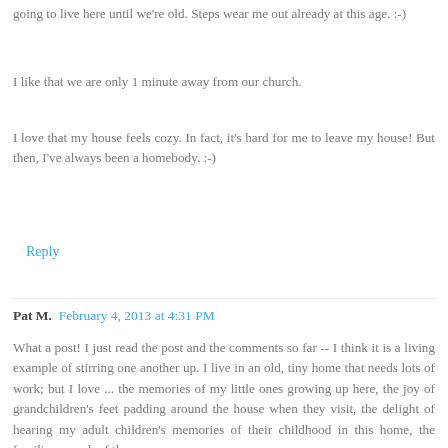going to live here until we're old. Steps wear me out already at this age. :-)
I like that we are only 1 minute away from our church.
I love that my house feels cozy. In fact, it's hard for me to leave my house! But then, I've always been a homebody. :-)
Reply
Pat M.  February 4, 2013 at 4:31 PM
What a post! I just read the post and the comments so far -- I think it is a living example of stirring one another up. I live in an old, tiny home that needs lots of work; but I love ... the memories of my little ones growing up here, the joy of grandchildren's feet padding around the house when they visit, the delight of hearing my adult children's memories of their childhood in this home, the familiar squeak of the